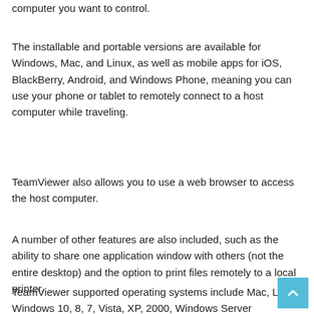computer you want to control.
The installable and portable versions are available for Windows, Mac, and Linux, as well as mobile apps for iOS, BlackBerry, Android, and Windows Phone, meaning you can use your phone or tablet to remotely connect to a host computer while traveling.
TeamViewer also allows you to use a web browser to access the host computer.
A number of other features are also included, such as the ability to share one application window with others (not the entire desktop) and the option to print files remotely to a local printer.
TeamViewer supported operating systems include Mac, Linux, Windows 10, 8, 7, Vista, XP, 2000, Windows Server…